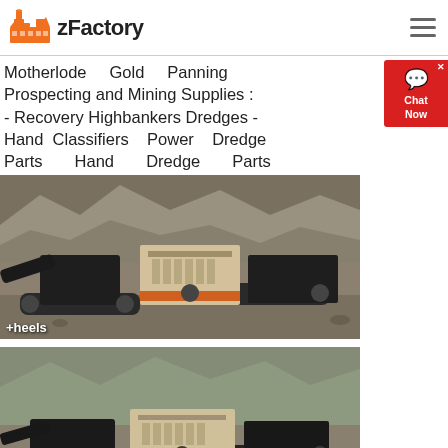zFactory
Motherlode Gold Panning Prospecting and Mining Supplies : - Recovery Highbankers Dredges - Hand Classifiers Power Dredge Parts Hand Dredge Parts
[Figure (photo): Mining machinery / rock crusher on tracks in an open quarry or mine site with rocky terrain]
+heels
[Figure (photo): Second mining machine in a quarry, similar tracked mobile crusher in open mine]